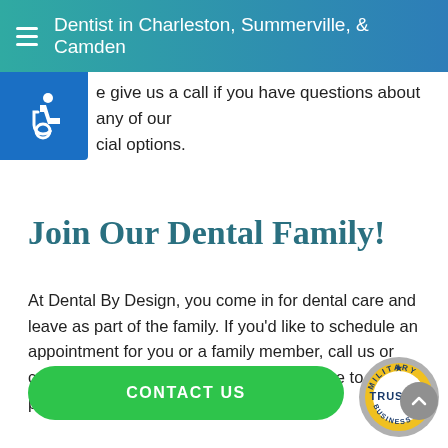Dentist in Charleston, Summerville, & Camden
e give us a call if you have questions about any of our cial options.
Join Our Dental Family!
At Dental By Design, you come in for dental care and leave as part of the family. If you'd like to schedule an appointment for you or a family member, call us or complete our online contact form. Welcome to our practice!
[Figure (logo): Military Trusted Business circular badge/seal in yellow and grey]
CONTACT US